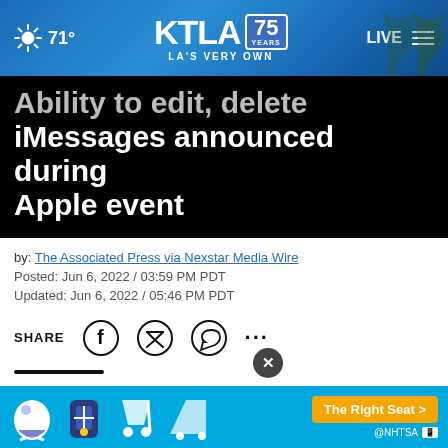71° KTLA 75 YEARS LA'S VERY OWN LIVE
Ability to edit, delete iMessages announced during Apple event
by: The Associated Press via Nexstar Media Wire
Posted: Jun 6, 2022 / 03:59 PM PDT
Updated: Jun 6, 2022 / 05:46 PM PDT
SHARE
Apple on Monday provided a peek at upcoming tweaks to the software that powers more than 1 bil iPhon he first a pany-